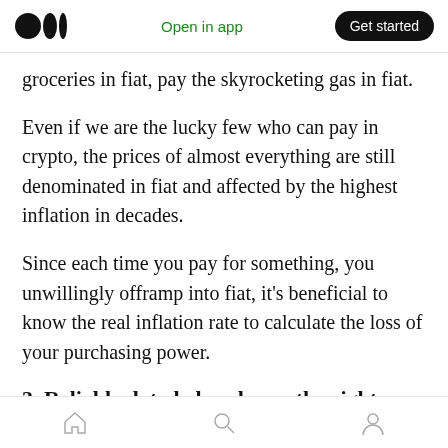Medium app header — Open in app | Get started
groceries in fiat, pay the skyrocketing gas in fiat.
Even if we are the lucky few who can pay in crypto, the prices of almost everything are still denominated in fiat and affected by the highest inflation in decades.
Since each time you pay for something, you unwillingly offramp into fiat, it's beneficial to know the real inflation rate to calculate the loss of your purchasing power.
3. Reliable data helps choose the right
Home | Search | Profile